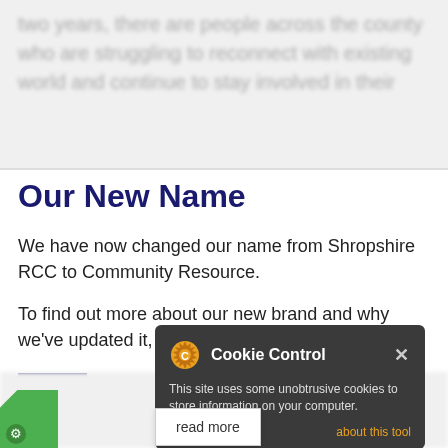two years, there are people across the county who are struggling to reconnect with existing world and continue to stay involved in their
Our New Name
We have now changed our name from Shropshire RCC to Community Resource.
To find out more about our new brand and why we've updated it, click here.
DISMISS
[Figure (screenshot): Cookie Control popup dialog with orange gear icon, title 'Cookie Control', close button X, body text 'This site uses some unobtrusive cookies to store information on your computer.', 'about this tool' link in orange, and 'read more' button below.]